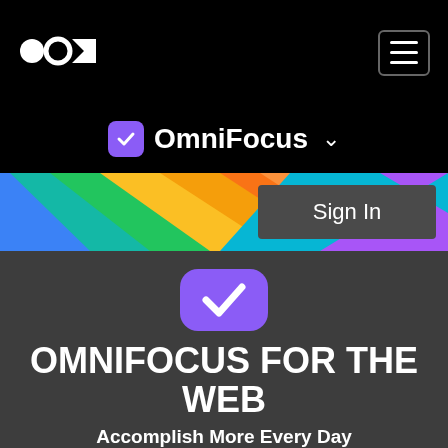[Figure (logo): Omni Group logo in white on black navigation bar]
[Figure (screenshot): OmniFocus product navigation bar with purple checkbox icon and dropdown chevron]
[Figure (illustration): Rainbow diagonal stripe banner with Sign In button overlay]
[Figure (logo): Large OmniFocus purple rounded square icon with white checkmark]
OMNIFOCUS FOR THE WEB
Accomplish More Every Day